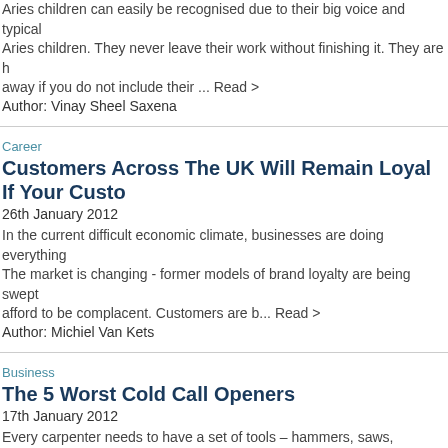Aries children can easily be recognised due to their big voice and typical Aries children. They never leave their work without finishing it. They are h away if you do not include their ... Read >
Author: Vinay Sheel Saxena
Career
Customers Across The UK Will Remain Loyal If Your Custo
26th January 2012
In the current difficult economic climate, businesses are doing everything The market is changing - former models of brand loyalty are being swept afford to be complacent. Customers are b... Read >
Author: Michiel Van Kets
Business
The 5 Worst Cold Call Openers
17th January 2012
Every carpenter needs to have a set of tools – hammers, saws, screwdri well in all sorts of situations, but over time, even the best tools will wear d like carpenters, sales people h... Read >
Author: IT Master
[Figure (other): Share button with social media icons]